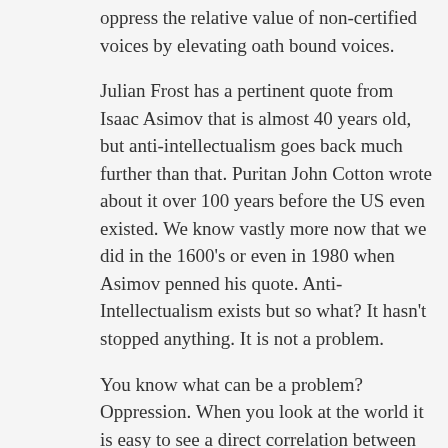oppress the relative value of non-certified voices by elevating oath bound voices.
Julian Frost has a pertinent quote from Isaac Asimov that is almost 40 years old, but anti-intellectualism goes back much further than that. Puritan John Cotton wrote about it over 100 years before the US even existed. We know vastly more now that we did in the 1600's or even in 1980 when Asimov penned his quote. Anti-Intellectualism exists but so what? It hasn't stopped anything. It is not a problem.
You know what can be a problem? Oppression. When you look at the world it is easy to see a direct correlation between scientific progress and how liberal a society is. In the US and Western Europe, we rule. In the highly oppressive cultures of the Middle East, not so much. It seems complete lunacy to me that a highly intelligent person such as Ethan would look at this situation and think the solution to this non-problem is more oppression. He thinks we need to increase